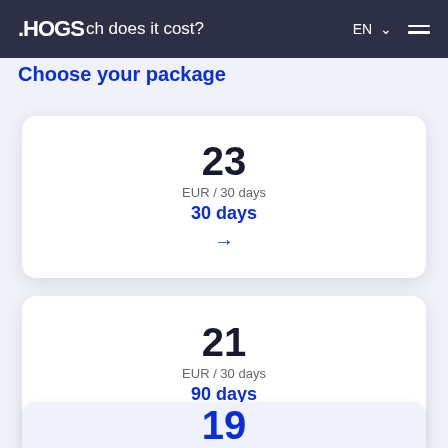.HOGS — How much does it cost?
Choose your package
23
EUR / 30 days
30 days →
21
EUR / 30 days
90 days →
19